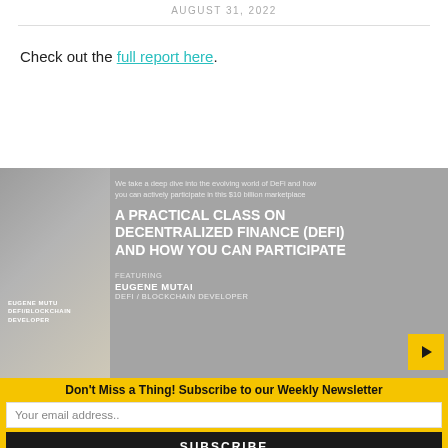AUGUST 31, 2022
Check out the full report here.
[Figure (photo): Promotional banner for a practical class on Decentralized Finance (DeFi) featuring Eugene Mutai, DeFi/Blockchain Developer. Shows a person seated at a laptop with text overlay describing the class.]
Don't Miss a Thing! Subscribe to our Weekly Newsletter
Your email address..
SUBSCRIBE